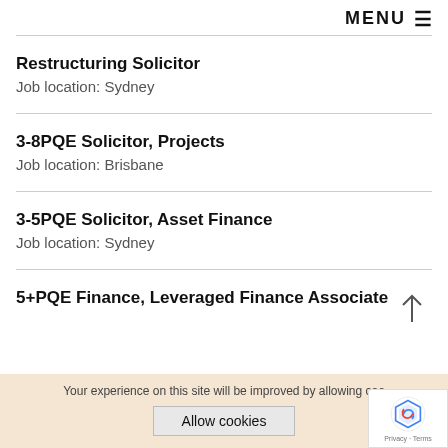MENU
Restructuring Solicitor
Job location: Sydney
3-8PQE Solicitor, Projects
Job location: Brisbane
3-5PQE Solicitor, Asset Finance
Job location: Sydney
5+PQE Finance, Leveraged Finance Associate
Your experience on this site will be improved by allowing coo
Allow cookies